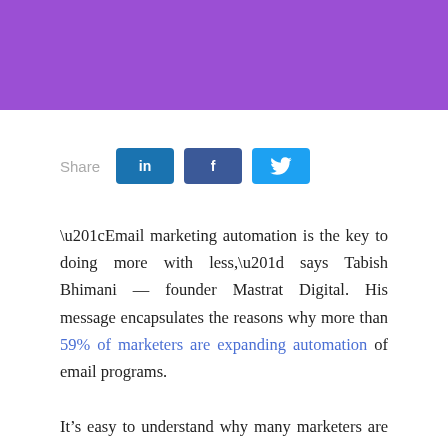[Figure (other): Purple header banner background]
Share [LinkedIn] [Facebook] [Twitter]
“Email marketing automation is the key to doing more with less,” says Tabish Bhimani — founder Mastrat Digital. His message encapsulates the reasons why more than 59% of marketers are expanding automation of email programs.
It’s easy to understand why many marketers are jumping on the bandwagon. Email automation saves